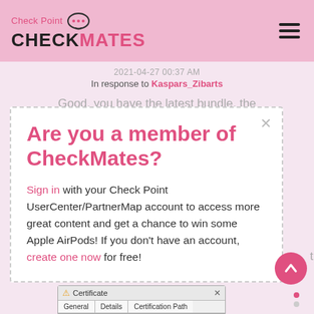Check Point CHECKMATES
2021-04-27 00:37 AM
In response to Kaspars_Zibarts
Good, you have the latest bundle, the
Are you a member of CheckMates?
Sign in with your Check Point UserCenter/PartnerMap account to access more great content and get a chance to win some Apple AirPods! If you don't have an account, create one now for free!
[Figure (screenshot): Certificate dialog box at the bottom with tabs: General, Details, Certification Path]